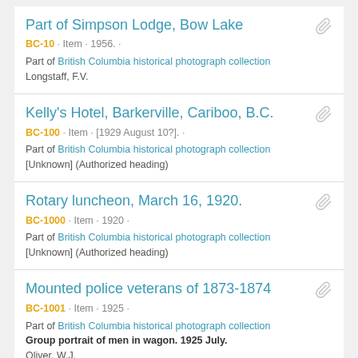Part of Simpson Lodge, Bow Lake | BC-10 · Item · 1956. · | Part of British Columbia historical photograph collection | Longstaff, F.V.
Kelly's Hotel, Barkerville, Cariboo, B.C. | BC-100 · Item · [1929 August 10?]. · | Part of British Columbia historical photograph collection | [Unknown] (Authorized heading)
Rotary luncheon, March 16, 1920. | BC-1000 · Item · 1920 · | Part of British Columbia historical photograph collection | [Unknown] (Authorized heading)
Mounted police veterans of 1873-1874 | BC-1001 · Item · 1925 · | Part of British Columbia historical photograph collection | Group portrait of men in wagon. 1925 July. | Oliver, W.J.